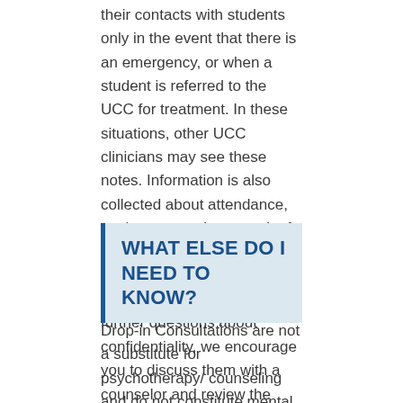their contacts with students only in the event that there is an emergency, or when a student is referred to the UCC for treatment. In these situations, other UCC clinicians may see these notes. Information is also collected about attendance, so that we can keep track of the students we are serving and those we need to continue serving. If you have further questions about confidentiality, we encourage you to discuss them with a counselor and review the information given to you during your Drop-in Consultation.
WHAT ELSE DO I NEED TO KNOW?
Drop-in Consultations are not a substitute for psychotherapy/ counseling and do not constitute mental health treatment. Counselors provide informal consultations to help students with specific problems and